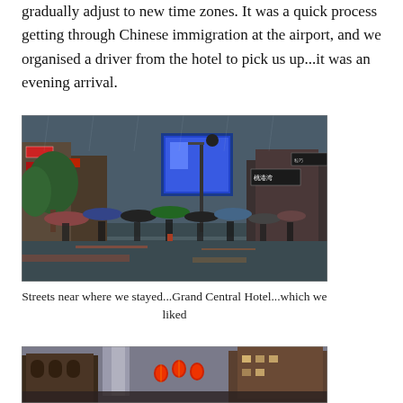gradually adjust to new time zones. It was a quick process getting through Chinese immigration at the airport, and we organised a driver from the hotel to pick us up...it was an evening arrival.
[Figure (photo): Rainy street scene in China with people carrying umbrellas, colorful storefronts and large advertising screens visible. Streets near Grand Central Hotel area.]
Streets near where we stayed...Grand Central Hotel...which we liked
[Figure (photo): Street view of buildings in China at dusk/evening, with red lantern decorations visible and tall modern buildings in background.]